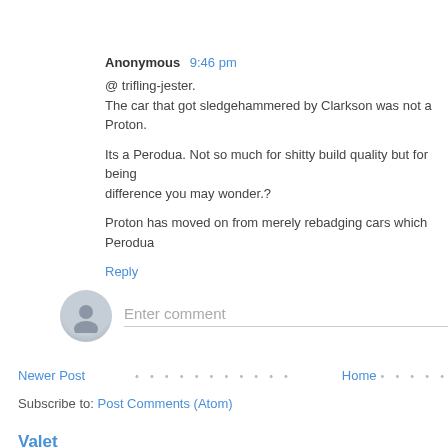Anonymous 9:46 pm
@ trifling-jester.
The car that got sledgehammered by Clarkson was not a Proton.
Its a Perodua. Not so much for shitty build quality but for being difference you may wonder.?
Proton has moved on from merely rebadging cars which Perodua
Reply
[Figure (other): Comment input area with avatar and text field saying 'Enter comment']
Newer Post · · · · · · · · · · · · Home · · · · · · ·
Subscribe to: Post Comments (Atom)
Valet
Friday: You expect to pay more for valet services at shopping malls and ho